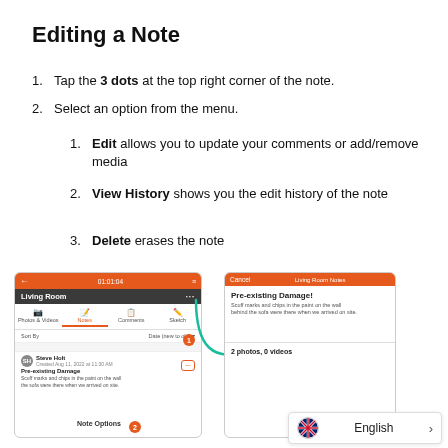Editing a Note
Tap the 3 dots at the top right corner of the note.
Select an option from the menu.
Edit allows you to update your comments or add/remove media
View History shows you the edit history of the note
Delete erases the note
[Figure (screenshot): Mobile app screenshot showing a Living Room notes screen with 3-dots menu button highlighted, and a note details screen showing Pre-existing Damage note with 2 photos, 0 videos. An arrow connects the two screens. A language selector showing English is visible.]